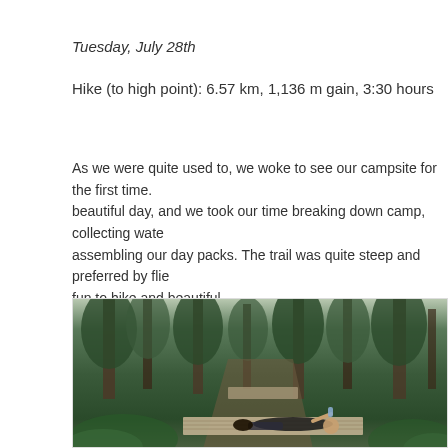Tuesday, July 28th
Hike (to high point): 6.57 km, 1,136 m gain, 3:30 hours
As we were quite used to, we woke to see our campsite for the first time. beautiful day, and we took our time breaking down camp, collecting wate assembling our day packs. The trail was quite steep and preferred by flie fun to hike and beautiful.
[Figure (photo): Person lying on a wooden boardwalk/bridge in a lush green forest, drinking from a water bottle, with tall trees and ferns surrounding the trail]